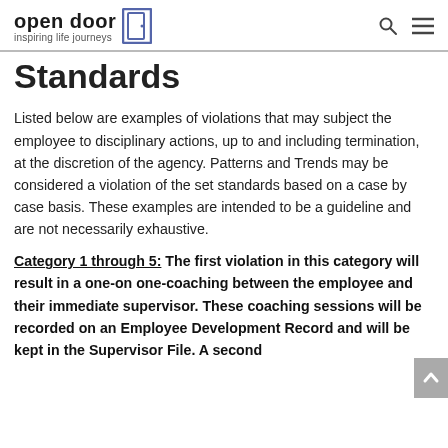open door inspiring life journeys
Standards
Listed below are examples of violations that may subject the employee to disciplinary actions, up to and including termination, at the discretion of the agency. Patterns and Trends may be considered a violation of the set standards based on a case by case basis. These examples are intended to be a guideline and are not necessarily exhaustive.
Category 1 through 5: The first violation in this category will result in a one-on one-coaching between the employee and their immediate supervisor. These coaching sessions will be recorded on an Employee Development Record and will be kept in the Supervisor File. A second